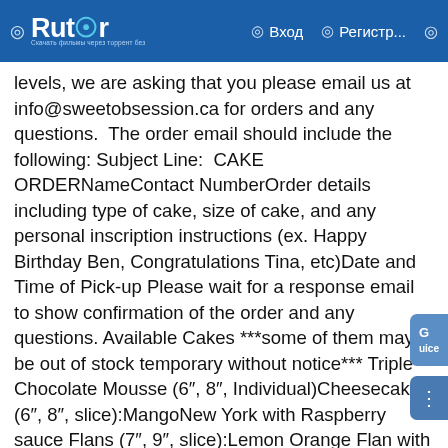Rutor — Вход — Регистр...
levels, we are asking that you please email us at info@sweetobsession.ca for orders and any questions.  The order email should include the following: Subject Line:  CAKE ORDERNameContact NumberOrder details including type of cake, size of cake, and any personal inscription instructions (ex. Happy Birthday Ben, Congratulations Tina, etc)Date and Time of Pick-up Please wait for a response email to show confirmation of the order and any questions. Available Cakes ***some of them may be out of stock temporary without notice*** Triple Chocolate Mousse (6″, 8″, Individual)Cheesecakes (6″, 8″, slice):MangoNew York with Raspberry sauce Flans (7″, 9″, slice):Lemon Orange Flan with BlueberryLime Raspberry FlanPassion Fruit Flan Tiramisu (6″,8″, Individual)White Chocolate Raspberry Mousse (6″,8″, Individual )Peanut Butter Mousse (6″, 8″, Individual)Lemon Mousse Cake (6″, 8″, Individual)Chocolate Hazelnut Zuccotto (7″, 9″, Individual)Dulce De Leche (6″, 12″, slice)Neopolitan Cake (6″, 8″)Bittersweet Chocolate Buttercream (6″, 8″, slice)Hedgehog (6″, 8″, slice)St. Honore (6″, 12″, Individual)Mocha Torte (6″, 8″)Carrot Cake (6″,